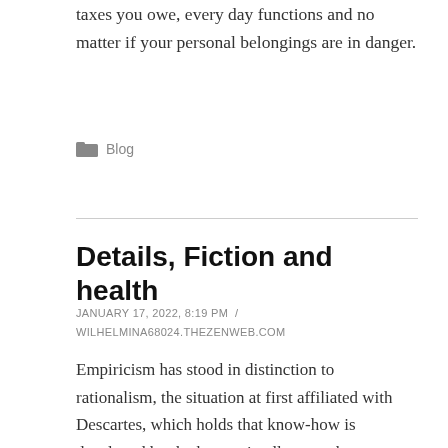taxes you owe, every day functions and no matter if your personal belongings are in danger.
Blog
Details, Fiction and health
JANUARY 17, 2022, 8:19 PM / WILHELMINA68024.THEZENWEB.COM
Empiricism has stood in distinction to rationalism, the situation at first affiliated with Descartes, which holds that know-how is developed by the human intellect, not by observation.[151] Vital rationalism is often a contrasting twentieth-century approach to science